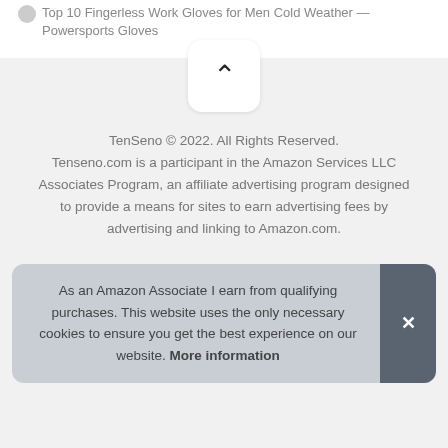Top 10 Fingerless Work Gloves for Men Cold Weather — Powersports Gloves
[Figure (other): Back-to-top scroll button with chevron up arrow in a white rounded square on light grey background]
TenSeno © 2022. All Rights Reserved. Tenseno.com is a participant in the Amazon Services LLC Associates Program, an affiliate advertising program designed to provide a means for sites to earn advertising fees by advertising and linking to Amazon.com.
As an Amazon Associate I earn from qualifying purchases. This website uses the only necessary cookies to ensure you get the best experience on our website. More information